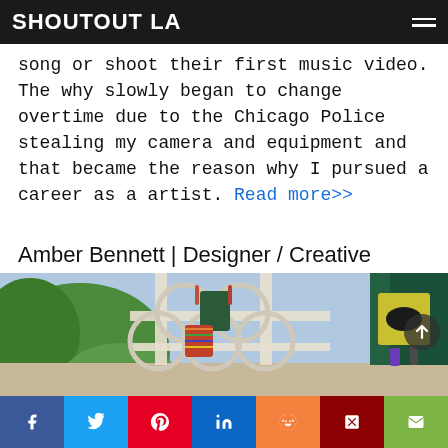SHOUTOUT LA
song or shoot their first music video. The why slowly began to change overtime due to the Chicago Police stealing my camera and equipment and that became the reason why I pursued a career as a artist. Read more>>
Amber Bennett | Designer / Creative
[Figure (photo): Interior photo showing a decorative window with metal circular/geometric grill work, hanging colorful bags/totes, lush green plants visible through the window, blue sky, dark green curtains, candles and decorative items on a shelf.]